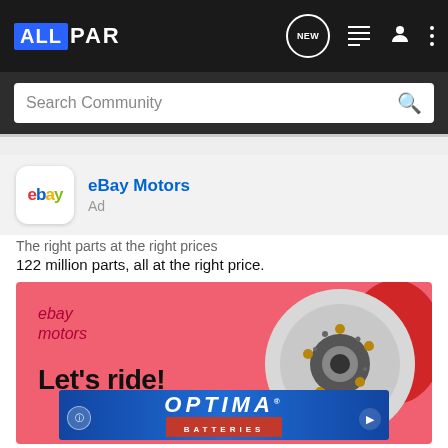[Figure (screenshot): Allpar community website navigation bar with logo, NEW button, list icon, user icon, and more icon on dark background]
[Figure (screenshot): Search Community search bar on dark background with magnifying glass icon]
[Figure (screenshot): eBay Motors ad header with eBay logo, title 'eBay Motors' and 'Ad' label]
The right parts at the right prices
122 million parts, all at the right price.
[Figure (illustration): eBay Motors advertisement banner on pink background showing ebay motors logo, 'Let's ride!' text, brake disc image, and Optima Batteries banner overlay]